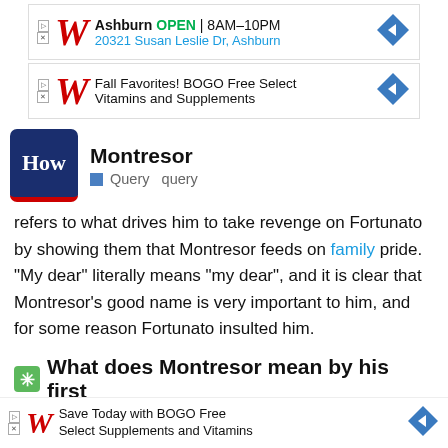[Figure (infographic): Walgreens advertisement: Ashburn OPEN 8AM-10PM, 20321 Susan Leslie Dr, Ashburn]
[Figure (infographic): Walgreens advertisement: Fall Favorites! BOGO Free Select Vitamins and Supplements]
[Figure (logo): HowStuffWorks How logo in dark blue with red underline]
Montresor
Query  query
refers to what drives him to take revenge on Fortunato by showing them that Montresor feeds on family pride. "My dear" literally means "my dear", and it is clear that Montresor's good name is very important to him, and for some reason Fortunato insulted him.
What does Montresor mean by his first
[Figure (photo): Hand holding a light bulb shaped security camera]
[Figure (infographic): Ad overlay: Homeowners Are Trading in Their Doorbell Cams for This. Keilini | Sponsored]
happy to                                                                        means the gath                                                                   me to kill